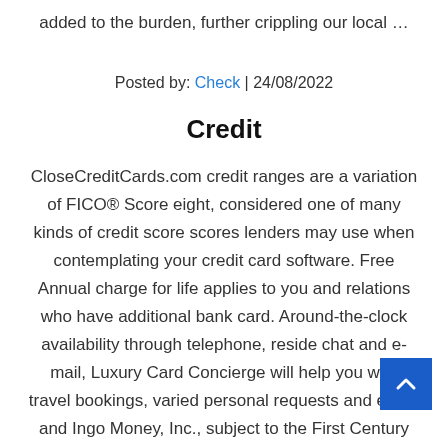added to the burden, further crippling our local …
Posted by: Check | 24/08/2022
Credit
CloseCreditCards.com credit ranges are a variation of FICO® Score eight, considered one of many kinds of credit score scores lenders may use when contemplating your credit card software. Free Annual charge for life applies to you and relations who have additional bank card. Around-the-clock availability through telephone, reside chat and e-mail, Luxury Card Concierge will help you with travel bookings, varied personal requests and extra.
and Ingo Money, Inc., subject to the First Century